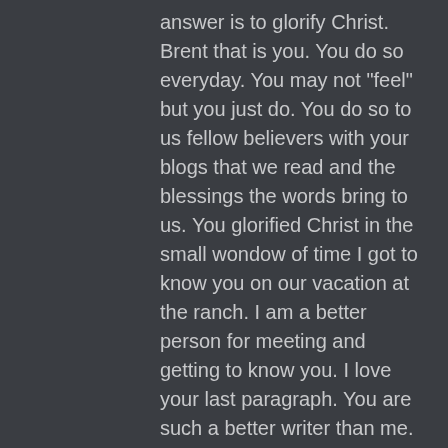answer is to glorify Christ. Brent that is you. You do so everyday. You may not “feel” but you just do. You do so to us fellow believers with your blogs that we read and the blessings the words bring to us. You glorified Christ in the small wondow of time I got to know you on our vacation at the ranch. I am a better person for meeting and getting to know you. I love your last paragraph. You are such a better writer than me. I so look forward to being blessed by your blogs Brent so thank you for glorifying the Lord.
On a lighter note, good luck to your Bulldogs as they are in my hometown to hopefully beat up on those dirty yard